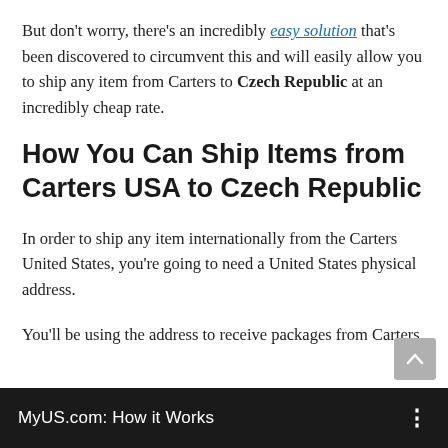But don't worry, there's an incredibly easy solution that's been discovered to circumvent this and will easily allow you to ship any item from Carters to Czech Republic at an incredibly cheap rate.
How You Can Ship Items from Carters USA to Czech Republic
In order to ship any item internationally from the Carters United States, you're going to need a United States physical address.
You'll be using the address to receive packages from Carters.
MyUS.com: How it Works